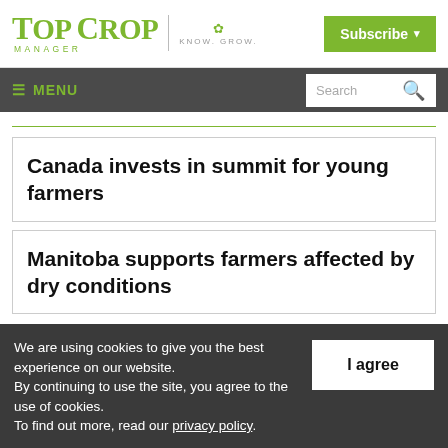Top Crop Manager | KNOW. GROW. | Subscribe
≡ MENU | Search
Canada invests in summit for young farmers
Manitoba supports farmers affected by dry conditions
We are using cookies to give you the best experience on our website. By continuing to use the site, you agree to the use of cookies. To find out more, read our privacy policy.